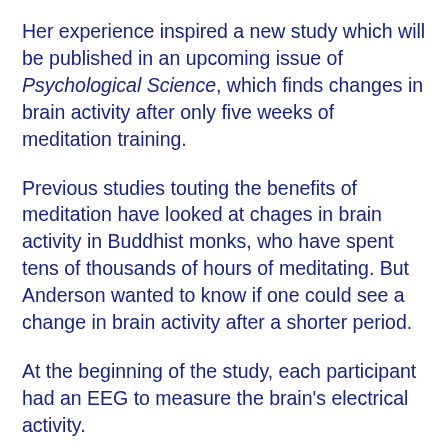Her experience inspired a new study which will be published in an upcoming issue of Psychological Science, which finds changes in brain activity after only five weeks of meditation training.
Previous studies touting the benefits of meditation have looked at chages in brain activity in Buddhist monks, who have spent tens of thousands of hours of meditating. But Anderson wanted to know if one could see a change in brain activity after a shorter period.
At the beginning of the study, each participant had an EEG to measure the brain's electrical activity.
They were told: “Relax with your eyes closed, and focus on the flow of your breath at the tip of your nose; if a random thought arises, acknowledge the thought and then simply let it go by gently bringing your attention back to the flow of your breath.”